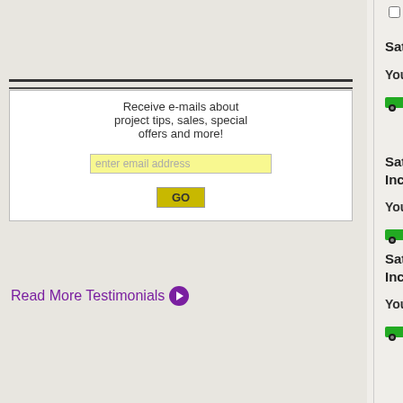Receive e-mails about project tips, sales, special offers and more!
enter email address
GO
Read More Testimonials
Compare
Satco S11 Incandescent Light Bulb
Your Price: $4.99
Compare
Satco T6-1/2 Intermediate Base Incandescent Tubular Light Bulb
Your Price: $4.99
Compare
Satco T6-1/2 Bayonet Base Incandescent Tubular Light Bulb
Your Price: $4.99
Compare
Good Earth Lighting G8 Replacement Xenon Light Bulb
Your Price: $4.99
Compare
Satco T6 Incandescent Tubular Appliance Light Bulb
Your Price: $5.84
Compare